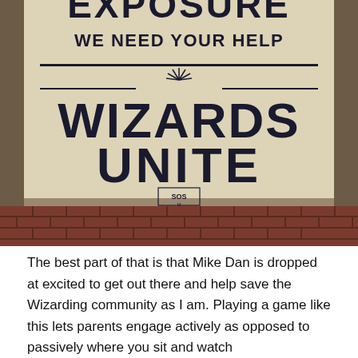[Figure (photo): Photo of a poster pasted on a brick wall. The poster reads 'EXPOSURE WE NEED YOUR HELP' at the top, then large text 'WIZARDS UNITE' with a wand/star burst icon, and a small SOS emblem at the bottom. Brick wall visible at the base.]
The best part of that is that Mike Dan is dropped at excited to get out there and help save the Wizarding community as I am. Playing a game like this lets parents engage actively as opposed to passively where you sit and watch